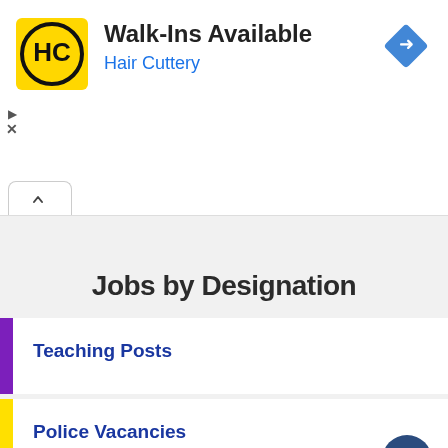[Figure (screenshot): Hair Cuttery advertisement banner with logo, Walk-Ins Available text, and navigation icon]
Jobs by Designation
Teaching Posts
Police Vacancies
Banking Jobs (partial)